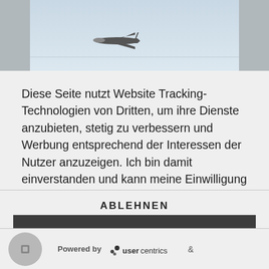[Figure (photo): Partial photo of an airplane on a light sky background, cropped at top]
Diese Seite nutzt Website Tracking-Technologien von Dritten, um ihre Dienste anzubieten, stetig zu verbessern und Werbung entsprechend der Interessen der Nutzer anzuzeigen. Ich bin damit einverstanden und kann meine Einwilligung jederzeit mit Wirkung für die Zukunft widerrufen oder ändern.
ABLEHNEN
AKZEPTIEREN
MEHR
Powered by usercentrics &